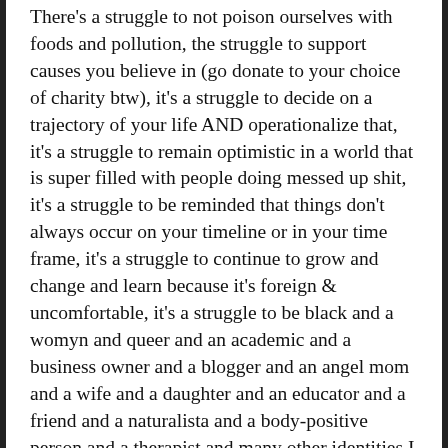There's a struggle to not poison ourselves with foods and pollution, the struggle to support causes you believe in (go donate to your choice of charity btw), it's a struggle to decide on a trajectory of your life AND operationalize that, it's a struggle to remain optimistic in a world that is super filled with people doing messed up shit, it's a struggle to be reminded that things don't always occur on your timeline or in your time frame, it's a struggle to continue to grow and change and learn because it's foreign & uncomfortable, it's a struggle to be black and a womyn and queer and an academic and a business owner and a blogger and an angel mom and a wife and a daughter and an educator and a friend and a naturalista and a body-positive person and a therapist and many other identities I hold, all at the same time and make this shit look effortless *flips hair* . It's a struggle to keep trying for